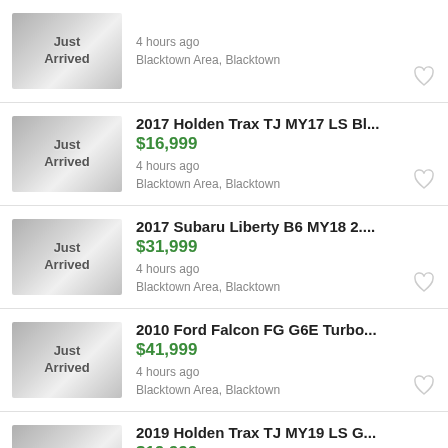Just Arrived | 4 hours ago | Blacktown Area, Blacktown
2017 Holden Trax TJ MY17 LS Bl... | $16,999 | 4 hours ago | Blacktown Area, Blacktown
2017 Subaru Liberty B6 MY18 2... | $31,999 | 4 hours ago | Blacktown Area, Blacktown
2010 Ford Falcon FG G6E Turbo... | $41,999 | 4 hours ago | Blacktown Area, Blacktown
2019 Holden Trax TJ MY19 LS G... | $19,999 | 4 hours ago | Blacktown Area, Blacktown